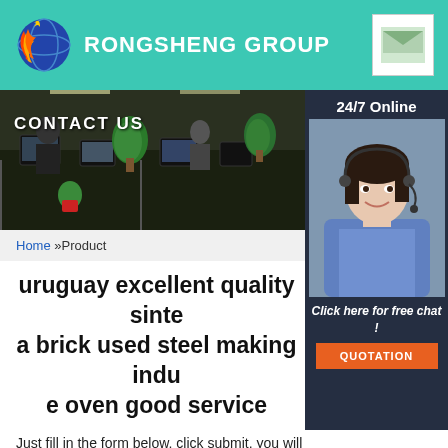[Figure (logo): Rongsheng Group logo with phoenix/flame icon and globe]
RONGSHENG GROUP
[Figure (photo): Office environment with CONTACT US label overlay, workers at desks with plants]
[Figure (photo): 24/7 Online panel with female customer service agent wearing headset, Click here for free chat, QUOTATION button]
Home »Product
uruguay excellent quality sinte a brick used steel making indu e oven good service
Just fill in the form below, click submit, you will get the price list, and we will contact you within one working day. Please also feel free to contact us via email or phone. (* is required).